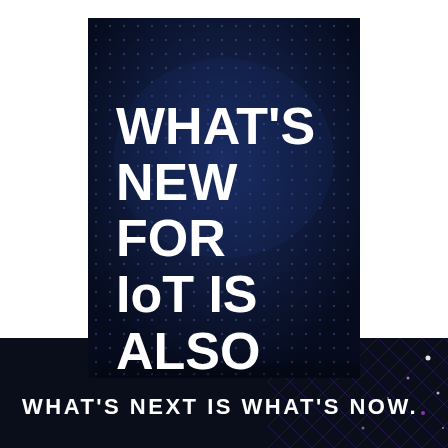[Figure (illustration): Dark navy book cover with glowing blue dot-matrix/circuit pattern background showing large white bold text: WHAT'S NEW FOR IoT IS ALSO WHAT'S NEXT.]
WHAT'S NEW FOR IoT IS ALSO WHAT'S NEXT.
WHAT'S NEXT IS WHAT'S NOW.